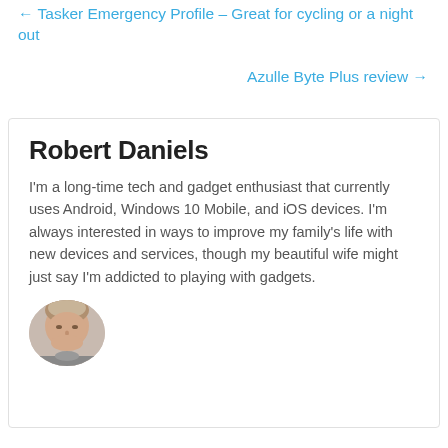← Tasker Emergency Profile – Great for cycling or a night out
Azulle Byte Plus review →
Robert Daniels
I'm a long-time tech and gadget enthusiast that currently uses Android, Windows 10 Mobile, and iOS devices. I'm always interested in ways to improve my family's life with new devices and services, though my beautiful wife might just say I'm addicted to playing with gadgets.
[Figure (photo): Circular profile photo of Robert Daniels, a man with short light-colored hair.]